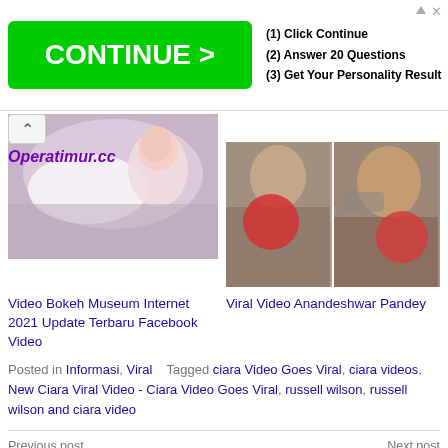[Figure (screenshot): Advertisement banner with green CONTINUE button and steps text]
[Figure (photo): Thumbnail of woman in white dress with Operatimur.cc overlay text]
[Figure (photo): Split thumbnail of two people with red censorship circles]
Video Bokeh Museum Internet 2021 Update Terbaru Facebook Video
Viral Video Anandeshwar Pandey
Posted in Informasi, Viral   Tagged ciara Video Goes Viral, ciara videos, New Ciara Viral Video - Ciara Video Goes Viral, russell wilson, russell wilson and ciara video
Previous post
Link Https //is.gd/download Videos File Mp4 Anak Pramuka Viral di Media Sosial
Next post
Cara Memantau Orang Terdekat Dengan Aplikasi Trackview